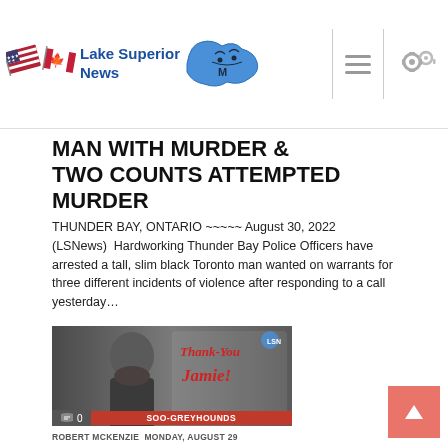Lake Superior News
MAN WITH MURDER & TWO COUNTS ATTEMPTED MURDER
THUNDER BAY, ONTARIO ~~~~~ August 30, 2022
(LSNews)  Hardworking Thunder Bay Police Officers have arrested a tall, slim black Toronto man wanted on warrants for three different incidents of violence after responding to a call yesterday…
[Figure (photo): Photo of a bearded man with overlay text 'Thank-You Jamie!' and SOO-GREYHOUNDS label at bottom]
ROBERT MCKENZIE  MONDAY, AUGUST 29